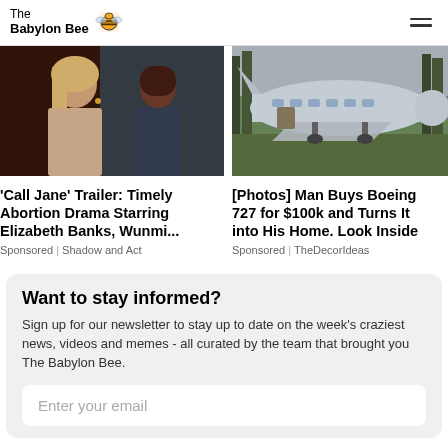The Babylon Bee
[Figure (photo): Movie still from 'Call Jane' showing two women]
'Call Jane' Trailer: Timely Abortion Drama Starring Elizabeth Banks, Wunmi...
Sponsored | Shadow and Act
[Figure (photo): Photo of a Boeing 727 converted into a home in a wooded area]
[Photos] Man Buys Boeing 727 for $100k and Turns It into His Home. Look Inside
Sponsored | TheDecorIdeas
Want to stay informed?
Sign up for our newsletter to stay up to date on the week's craziest news, videos and memes - all curated by the team that brought you The Babylon Bee.
Enter your email